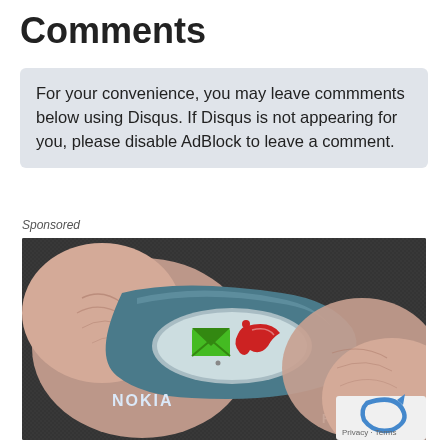Comments
For your convenience, you may leave commments below using Disqus. If Disqus is not appearing for you, please disable AdBlock to leave a comment.
Sponsored
[Figure (photo): Close-up photo of a Nokia FIT device being held between two fingers, showing a green envelope icon and a red phone/call icon with a notification dot, on a dark textured background. The Nokia and FIT branding is visible on the device.]